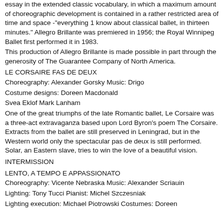essay in the extended classic vocabulary, in which a maximum amount of choreographic development is contained in a rather restricted area of time and space - "everything 1 know about classical ballet, in thirteen minutes." Allegro Brillante was premiered in 1956; the Royal Winnipeg Ballet first performed it in 1983.
This production of Allegro Brillante is made possible in part through the generosity of The Guarantee Company of North America.
LE CORSAIRE FAS DE DEUX
Choreography: Alexander Gorsky Music: Drigo
Costume designs: Doreen Macdonald
Svea Eklof Mark Lanham
One of the great triumphs of the late Romantic ballet, Le Corsaire was a three-act extravaganza based upon Lord Byron's poem The Corsaire. Extracts from the ballet are still preserved in Leningrad, but in the Western world only the spectacular pas de deux is still performed. Solar, an Eastern slave, tries to win the love of a beautiful vision.
INTERMISSION
LENTO, A TEMPO E APPASSIONATO
Choreography: Vicente Nebraska Music: Alexander Scriauin
Lighting: Tony Tucci Pianist: Michel Szczesniak
Lighting execution: Michael Piotrowski Costumes: Doreen